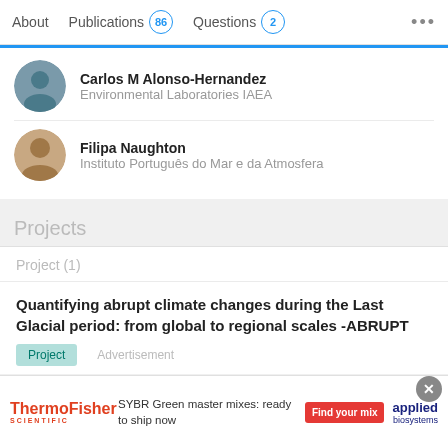About | Publications 86 | Questions 2 | ...
Carlos M Alonso-Hernandez
Environmental Laboratories IAEA
Filipa Naughton
Instituto Português do Mar e da Atmosfera
Projects
Project (1)
Quantifying abrupt climate changes during the Last Glacial period: from global to regional scales -ABRUPT
Project
Advertisement
[Figure (advertisement): ThermoFisher Scientific advertisement for SYBR Green master mixes with Applied Biosystems branding and a red 'Find your mix' button]